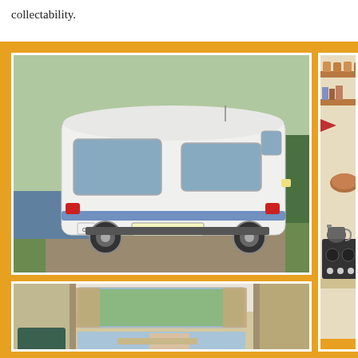collectability.
[Figure (photo): Exterior view of a vintage white campervan/motorhome with registration plate LAY 709P, parked on gravel near grass and water]
[Figure (photo): Interior view of the vintage campervan showing seating area with floral curtains and windows]
[Figure (photo): Interior detail of the campervan showing wooden shelves with jars, a kettle on a small stove/cooker, and kitchenware]